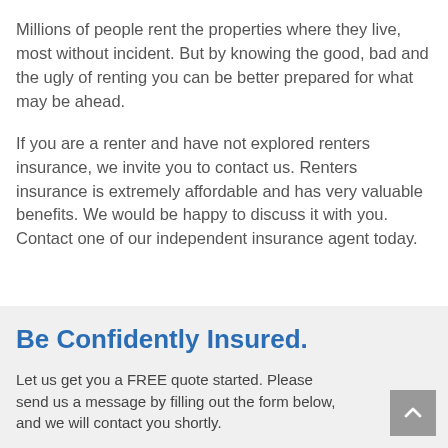Millions of people rent the properties where they live, most without incident. But by knowing the good, bad and the ugly of renting you can be better prepared for what may be ahead.
If you are a renter and have not explored renters insurance, we invite you to contact us. Renters insurance is extremely affordable and has very valuable benefits. We would be happy to discuss it with you. Contact one of our independent insurance agent today.
Be Confidently Insured.
Let us get you a FREE quote started. Please send us a message by filling out the form below, and we will contact you shortly.